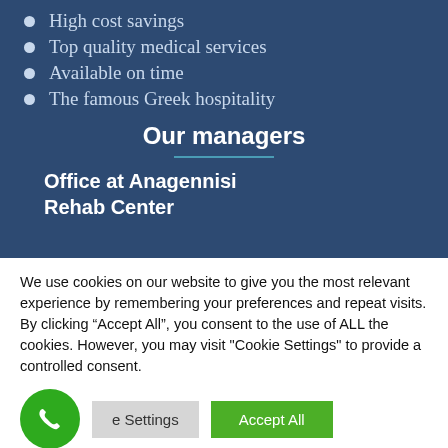High cost savings
Top quality medical services
Available on time
The famous Greek hospitality
Our managers
Office at Anagennisi Rehab Center
We use cookies on our website to give you the most relevant experience by remembering your preferences and repeat visits. By clicking “Accept All”, you consent to the use of ALL the cookies. However, you may visit "Cookie Settings" to provide a controlled consent.